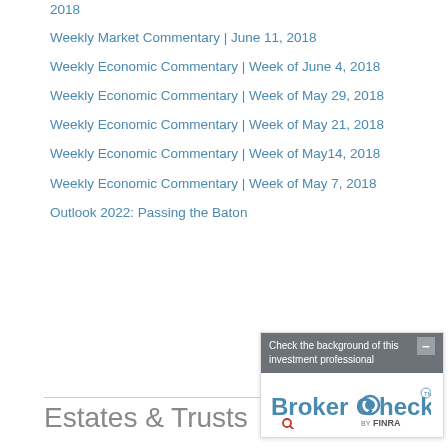2018
Weekly Market Commentary | June 11, 2018
Weekly Economic Commentary | Week of June 4, 2018
Weekly Economic Commentary | Week of May 29, 2018
Weekly Economic Commentary | Week of May 21, 2018
Weekly Economic Commentary | Week of May14, 2018
Weekly Economic Commentary | Week of May 7, 2018
Outlook 2022: Passing the Baton
Estates & Trusts
[Figure (other): BrokerCheck by FINRA advertisement widget with gray header saying 'Check the background of this investment professional' and BrokerCheck logo below]